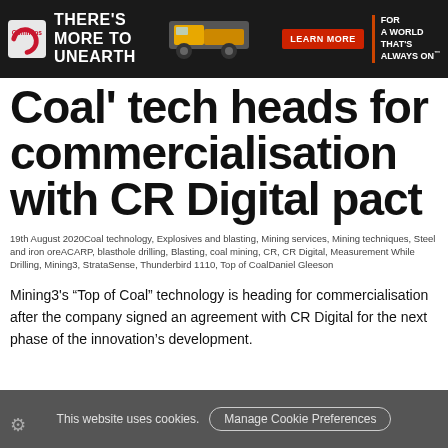[Figure (illustration): Cummins advertisement banner: dark background with Cummins logo on left, tagline 'THERE'S MORE TO UNEARTH', yellow mining truck in center, red 'LEARN MORE' button, and 'FOR A WORLD THAT'S ALWAYS ON' text on right with diagonal stripe]
Coal' tech heads for commercialisation with CR Digital pact
19th August 2020Coal technology, Explosives and blasting, Mining services, Mining techniques, Steel and iron oreACARP, blasthole drilling, Blasting, coal mining, CR, CR Digital, Measurement While Drilling, Mining3, StrataSense, Thunderbird 1110, Top of CoalDaniel Gleeson
Mining3's “Top of Coal” technology is heading for commercialisation after the company signed an agreement with CR Digital for the next phase of the innovation’s development.
This website uses cookies. Manage Cookie Preferences